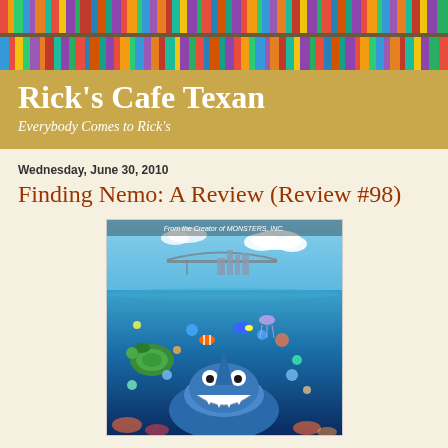[Figure (photo): Banner photo showing colorful books on shelves, serving as the blog header background]
Rick's Cafe Texan
Everybody Comes to Rick's
Wednesday, June 30, 2010
Finding Nemo: A Review (Review #98)
[Figure (photo): Finding Nemo movie poster showing characters from the film including sharks, sea turtles, and various ocean creatures underwater, with Sydney harbour visible above the waterline. Text at top reads 'From the Creator of MONSTERS, INC.']